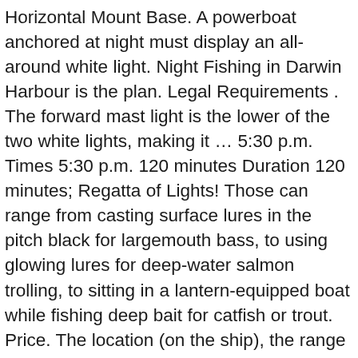Horizontal Mount Base. A powerboat anchored at night must display an all-around white light. Night Fishing in Darwin Harbour is the plan. Legal Requirements . The forward mast light is the lower of the two white lights, making it … 5:30 p.m. Times 5:30 p.m. 120 minutes Duration 120 minutes; Regatta of Lights! Those can range from casting surface lures in the pitch black for largemouth bass, to using glowing lures for deep-water salmon trolling, to sitting in a lantern-equipped boat while fishing deep bait for catfish or trout. Price. The location (on the ship), the range (distance at sea to which these lights can be seen) and the arc of visibility of these lights (the angle … Product Title Heavy Duty Vinyl Repair Patch Kit for Inflatables Boat Raft … The fear of washing out the light system is almost unfounded these days. One thing that can be said with certainty about angling for all species of fish in the inky blackness of night is that you